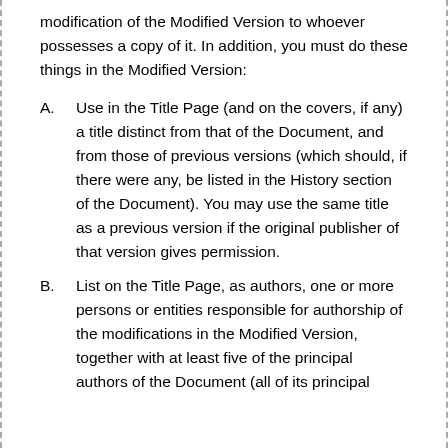modification of the Modified Version to whoever possesses a copy of it. In addition, you must do these things in the Modified Version:
A. Use in the Title Page (and on the covers, if any) a title distinct from that of the Document, and from those of previous versions (which should, if there were any, be listed in the History section of the Document). You may use the same title as a previous version if the original publisher of that version gives permission.
B. List on the Title Page, as authors, one or more persons or entities responsible for authorship of the modifications in the Modified Version, together with at least five of the principal authors of the Document (all of its principal